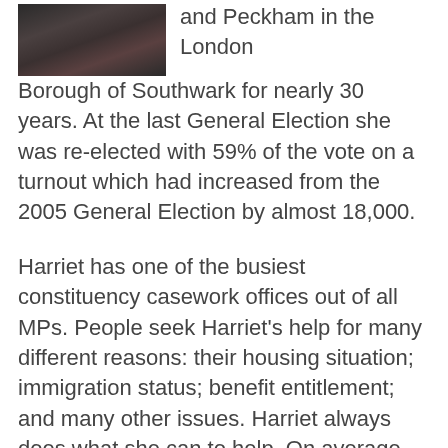[Figure (photo): Photo of a crowd of people, partially visible at top left of the page]
and Peckham in the London Borough of Southwark for nearly 30 years. At the last General Election she was re-elected with 59% of the vote on a turnout which had increased from the 2005 General Election by almost 18,000.
Harriet has one of the busiest constituency casework offices out of all MPs. People seek Harriet's help for many different reasons: their housing situation; immigration status; benefit entitlement; and many other issues. Harriet always does what she can to help. On average Harriet takes action on over 5,000 cases per year.
The Labour Party in Camberwell and Peckham is an active campaigning party with nearly 800